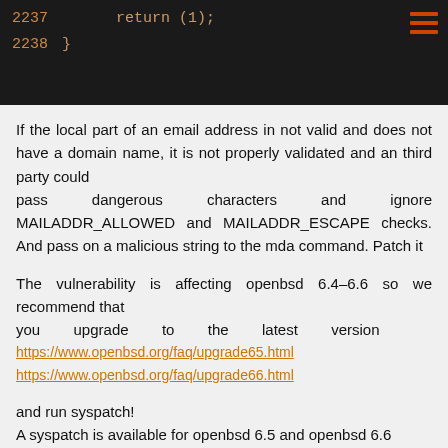[Figure (screenshot): Dark code block showing lines 2237 and 2238 of source code. Line 2237: return (1); Line 2238: }]
If the local part of an email address in not valid and does not have a domain name, it is not properly validated and an third party could pass dangerous characters and ignore MAILADDR_ALLOWED and MAILADDR_ESCAPE checks. And pass on a malicious string to the mda command. Patch it
The vulnerability is affecting openbsd 6.4–6.6 so we recommend that you upgrade to the latest version https://www.openbsd.org/faq/upgrade65.html https://www.openbsd.org/faq/upgrade66.html
and run syspatch! A syspatch is available for openbsd 6.5 and openbsd 6.6